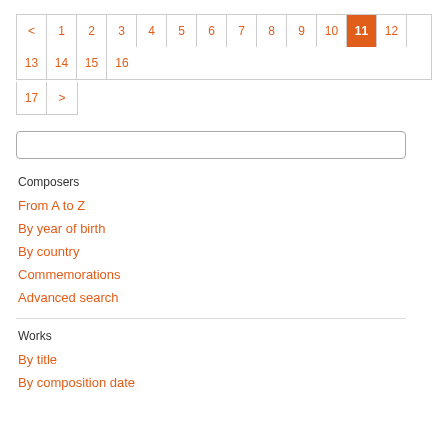< 1 2 3 4 5 6 7 8 9 10 11 12 13 14 15 16 17 >
Composers
From A to Z
By year of birth
By country
Commemorations
Advanced search
Works
By title
By composition date